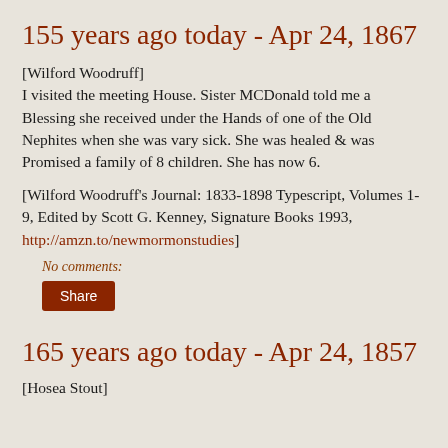155 years ago today - Apr 24, 1867
[Wilford Woodruff]
I visited the meeting House. Sister MCDonald told me a Blessing she received under the Hands of one of the Old Nephites when she was vary sick. She was healed & was Promised a family of 8 children. She has now 6.
[Wilford Woodruff's Journal: 1833-1898 Typescript, Volumes 1-9, Edited by Scott G. Kenney, Signature Books 1993, http://amzn.to/newmormonstudies]
No comments:
Share
165 years ago today - Apr 24, 1857
[Hosea Stout]